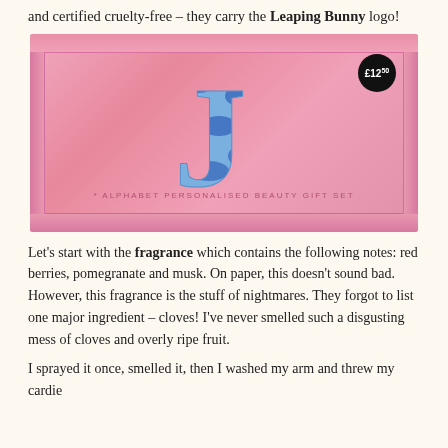and certified cruelty-free – they carry the Leaping Bunny logo!
[Figure (photo): Pink cardboard box labeled 'J Alphabet Personalised Beauty Gift Set' with a blue patterned letter J on the front and a black circular price badge showing £12.50 in the top right corner.]
Let's start with the fragrance which contains the following notes: red berries, pomegranate and musk. On paper, this doesn't sound bad. However, this fragrance is the stuff of nightmares. They forgot to list one major ingredient – cloves! I've never smelled such a disgusting mess of cloves and overly ripe fruit.
I sprayed it once, smelled it, then I washed my arm and threw my cardie